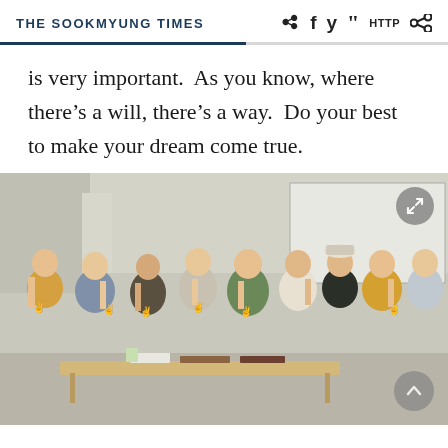THE SOOKMYUNG TIMES
is very important.  As you know, where there’s a will, there’s a way.  Do your best to make your dream come true.
[Figure (photo): Group photo of approximately nine young women in a classroom setting, posing with peace signs. Some wear yellow shirts, others wear casual clothing. A whiteboard and desk are visible in the background.]